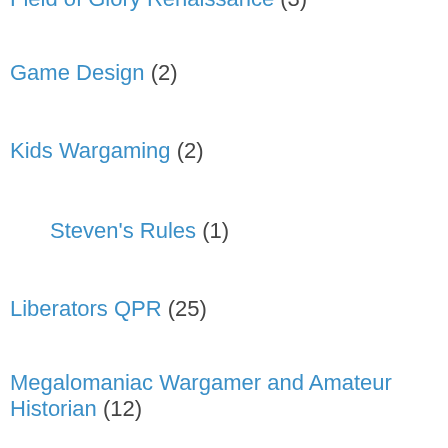Field of Glory Renaissance (3)
Game Design (2)
Kids Wargaming (2)
Steven's Rules (1)
Liberators QPR (25)
Megalomaniac Wargamer and Amateur Historian (12)
Operational (36)
Deep Battle (19)
Hurrah Stalino (2)
KISS Rommel (2)
Megablitz (15)
PanzerGruppe (3)
Rapier Offensive (5)